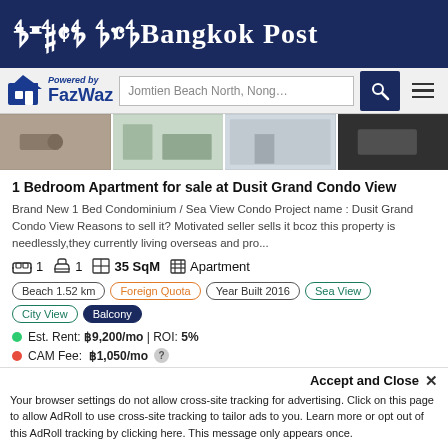Bangkok Post
[Figure (logo): FazWaz logo with house icon and search bar showing 'Jomtien Beach North, Nong...']
[Figure (photo): Strip of property photos showing interior rooms of the apartment]
1 Bedroom Apartment for sale at Dusit Grand Condo View
Brand New 1 Bed Condominium / Sea View Condo Project name : Dusit Grand Condo View Reasons to sell it? Motivated seller sells it bcoz this property is needlessly,they currently living overseas and pro...
1  1  35 SqM  Apartment
Beach 1.52 km
Foreign Quota
Year Built 2016
Sea View
City View
Balcony
Est. Rent: ฿9,200/mo | ROI: 5%
CAM Fee: ฿1,050/mo
Sinking Fund: ฿17,500
Accept and Close ✕
Your browser settings do not allow cross-site tracking for advertising. Click on this page to allow AdRoll to use cross-site tracking to tailor ads to you. Learn more or opt out of this AdRoll tracking by clicking here. This message only appears once.